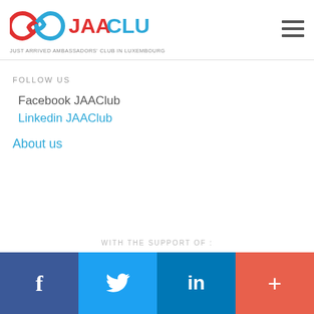JAACLUB – JUST ARRIVED AMBASSADORS' CLUB IN LUXEMBOURG
FOLLOW US
Facebook JAAClub
Linkedin JAAClub
About us
WITH THE SUPPORT OF :
f  (Twitter bird)  in  +